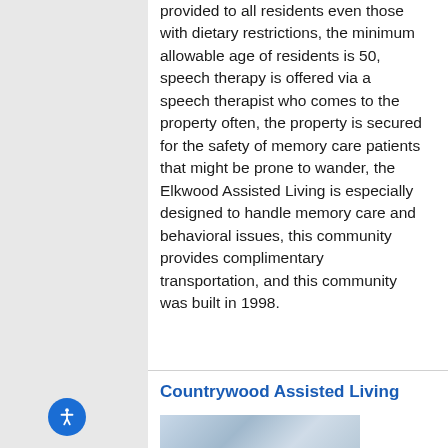provided to all residents even those with dietary restrictions, the minimum allowable age of residents is 50, speech therapy is offered via a speech therapist who comes to the property often, the property is secured for the safety of memory care patients that might be prone to wander, the Elkwood Assisted Living is especially designed to handle memory care and behavioral issues, this community provides complimentary transportation, and this community was built in 1998.
Countrywood Assisted Living
[Figure (photo): Partial photo of Countrywood Assisted Living building exterior or interior, cropped at bottom of page]